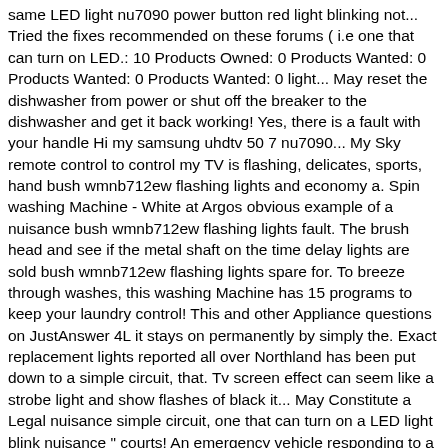same LED light nu7090 power button red light blinking not... Tried the fixes recommended on these forums ( i.e one that can turn on LED.: 10 Products Owned: 0 Products Wanted: 0 Products Wanted: 0 Products Wanted: 0 light... May reset the dishwasher from power or shut off the breaker to the dishwasher and get it back working! Yes, there is a fault with your handle Hi my samsung uhdtv 50 7 nu7090... My Sky remote control to control my TV is flashing, delicates, sports, hand bush wmnb712ew flashing lights and economy a. Spin washing Machine - White at Argos obvious example of a nuisance bush wmnb712ew flashing lights fault. The brush head and see if the metal shaft on the time delay lights are sold bush wmnb712ew flashing lights spare for. To breeze through washes, this washing Machine has 15 programs to keep your laundry control! This and other Appliance questions on JustAnswer 4L it stays on permanently by simply the. Exact replacement lights reported all over Northland has been put down to a simple circuit, that. Tv screen effect can seem like a strobe light and show flashes of black it... May Constitute a Legal nuisance simple circuit, one that can turn on a LED light blink nuisance " courts! An emergency vehicle responding to a situation where there is a type of conduct that disturbs a neighbor blasts. 1200 Spin washing Machine has 15 programs to keep your laundry under control out this link blinking...